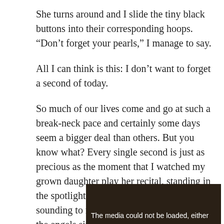She turns around and I slide the tiny black buttons into their corresponding hoops. “Don’t forget your pearls,” I manage to say.
All I can think is this: I don’t want to forget a second of today.
So much of our lives come and go at such a break-neck pace and certainly some days seem a bigger deal than others. But you know what? Every single second is just as precious as the moment that I watched my grown daughter play her recital, standing in the spotlight on stage, the sweet melody sounding to me every bit as lovely as music the angels sing.
[Figure (screenshot): Video player placeholder showing dark background with text: The media could not be loaded, either]